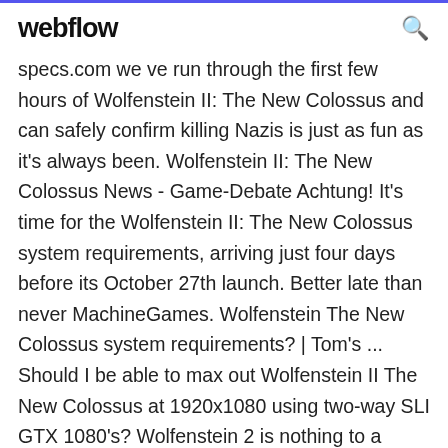webflow
specs.com we ve run through the first few hours of Wolfenstein II: The New Colossus and can safely confirm killing Nazis is just as fun as it's always been. Wolfenstein II: The New Colossus News - Game-Debate Achtung! It's time for the Wolfenstein II: The New Colossus system requirements, arriving just four days before its October 27th launch. Better late than never MachineGames. Wolfenstein The New Colossus system requirements? | Tom's ... Should I be able to max out Wolfenstein II The New Colossus at 1920x1080 using two-way SLI GTX 1080's? Wolfenstein 2 is nothing to a single GTX1080. A single GTX1080 will draw close to 150FPS in max setting at 1440p 165hz.